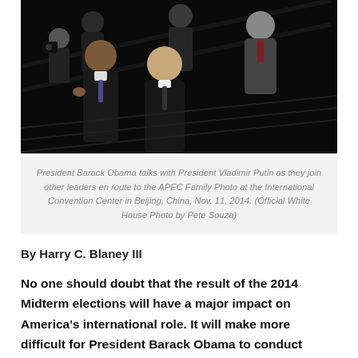[Figure (photo): President Barack Obama talks with President Vladimir Putin as they join other leaders en route to the APEC Family Photo at the International Convention Center in Beijing, China, Nov. 11, 2014.]
President Barack Obama talks with President Vladimir Putin as they join other leaders en route to the APEC Family Photo at the International Convention Center in Beijing, China, Nov. 11, 2014. (Official White House Photo by Pete Souza)
By Harry C. Blaney III
No one should doubt that the result of the 2014 Midterm elections will have a major impact on America's international role. It will make more difficult for President Barack Obama to conduct America's